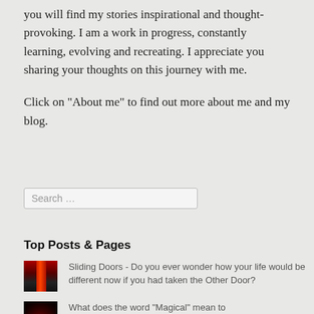you will find my stories inspirational and thought-provoking. I am a work in progress, constantly learning, evolving and recreating. I appreciate you sharing your thoughts on this journey with me.
Click on "About me" to find out more about me and my blog.
Search …
Top Posts & Pages
Sliding Doors - Do you ever wonder how your life would be different now if you had taken the Other Door?
What does the word "Magical" mean to